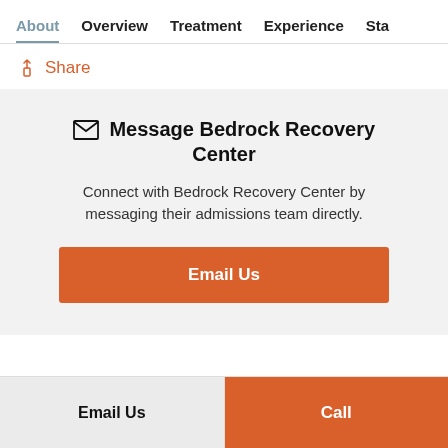About  Overview  Treatment  Experience  Sta
Share
Message Bedrock Recovery Center
Connect with Bedrock Recovery Center by messaging their admissions team directly.
Email Us
Email Us
Call